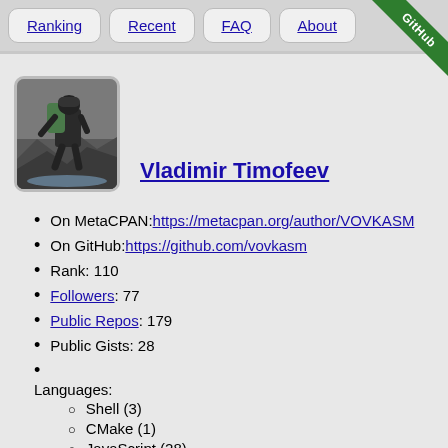Ranking
Recent
FAQ
About
[Figure (photo): Photo of Vladimir Timofeev climbing a rocky terrain with a large backpack]
Vladimir Timofeev
On MetaCPAN: https://metacpan.org/author/VOVKASM
On GitHub: https://github.com/vovkasm
Rank: 110
Followers: 77
Public Repos: 179
Public Gists: 28
Languages:
Shell (3)
CMake (1)
JavaScript (28)